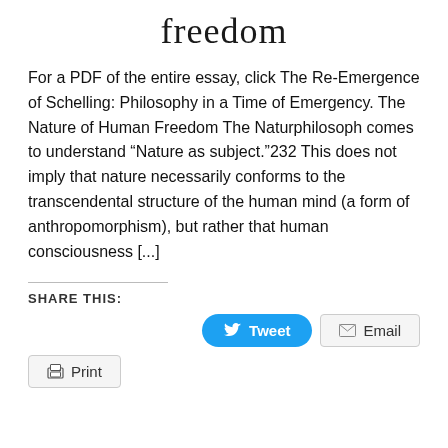freedom
For a PDF of the entire essay, click The Re-Emergence of Schelling: Philosophy in a Time of Emergency. The Nature of Human Freedom The Naturphilosoph comes to understand “Nature as subject.”232 This does not imply that nature necessarily conforms to the transcendental structure of the human mind (a form of anthropomorphism), but rather that human consciousness [...]
SHARE THIS:
Tweet  Email  Print